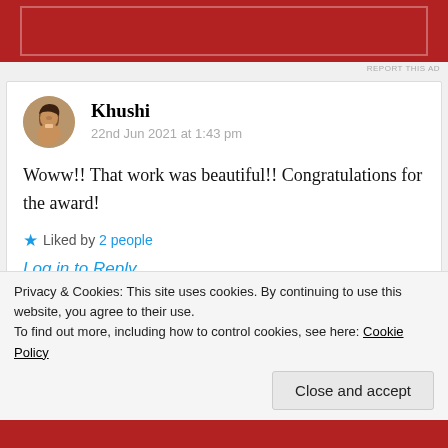[Figure (other): Red ad banner at top of page with inner border outline]
REPORT THIS AD
Khushi
22nd Jun 2021 at 1:43 pm
Woww!! That work was beautiful!! Congratulations for the award!
★ Liked by 2 people
Log in to Reply
Privacy & Cookies: This site uses cookies. By continuing to use this website, you agree to their use.
To find out more, including how to control cookies, see here: Cookie Policy
Close and accept